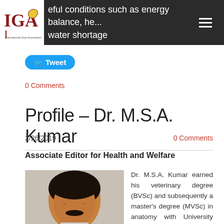eful conditions such as energy balance, he... water shortage
Tweet
0 Comments
Profile – Dr. M.S.A. Kumar
2/26/2019
0 Comments
Associate Editor for Health and Welfare
[Figure (photo): Headshot photo of Dr. M.S.A. Kumar]
Dr. M.S.A. Kumar earned his veterinary degree (BVSc) and subsequently a master's degree (MVSc) in anatomy with University Gold Medala...